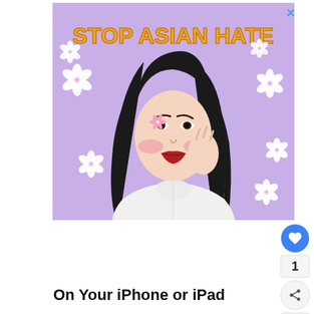[Figure (illustration): Advertisement illustration with purple background, white cherry blossom flowers scattered around, and a cartoon Asian woman with long black hair wearing a white turtleneck sweater, with a pink flower in her hair. Bold text at top reads STOP ASIAN HATE in yellow/orange with dark outline. A small X close button is in the top-right corner.]
On Your iPhone or iPad